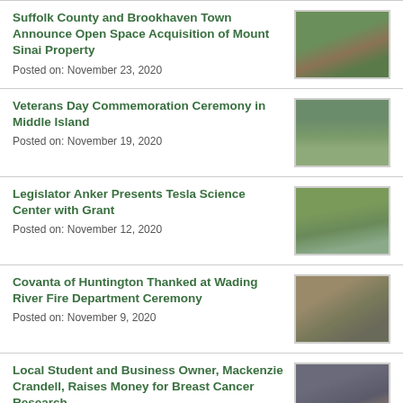Suffolk County and Brookhaven Town Announce Open Space Acquisition of Mount Sinai Property
Posted on: November 23, 2020
[Figure (photo): Outdoor photo related to open space acquisition]
Veterans Day Commemoration Ceremony in Middle Island
Posted on: November 19, 2020
[Figure (photo): Group photo at Veterans Day ceremony]
Legislator Anker Presents Tesla Science Center with Grant
Posted on: November 12, 2020
[Figure (photo): Photo of grant presentation at Tesla Science Center]
Covanta of Huntington Thanked at Wading River Fire Department Ceremony
Posted on: November 9, 2020
[Figure (photo): Group photo at fire department ceremony]
Local Student and Business Owner, Mackenzie Crandell, Raises Money for Breast Cancer Research
Posted on: November 9, 2020
[Figure (photo): Photo related to Breast Cancer Research fundraiser]